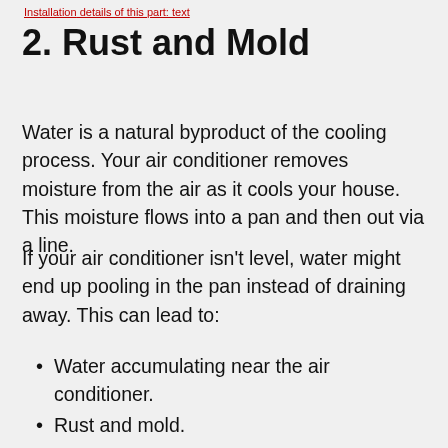Installation details of this part: text
2. Rust and Mold
Water is a natural byproduct of the cooling process. Your air conditioner removes moisture from the air as it cools your house. This moisture flows into a pan and then out via a line.
If your air conditioner isn't level, water might end up pooling in the pan instead of draining away. This can lead to:
Water accumulating near the air conditioner.
Rust and mold.
Rusty coils, which won't be able to get rid of heat as efficiently.
More expensive energy bills due to less efficient cooling.